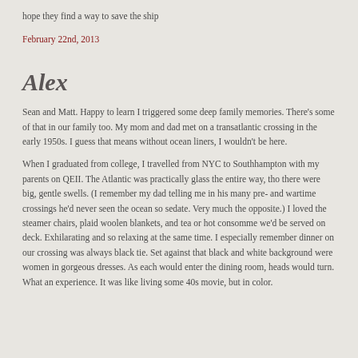hope they find a way to save the ship
February 22nd, 2013
Alex
Sean and Matt. Happy to learn I triggered some deep family memories. There's some of that in our family too. My mom and dad met on a transatlantic crossing in the early 1950s. I guess that means without ocean liners, I wouldn't be here.
When I graduated from college, I travelled from NYC to Southhampton with my parents on QEII. The Atlantic was practically glass the entire way, tho there were big, gentle swells. (I remember my dad telling me in his many pre- and wartime crossings he'd never seen the ocean so sedate. Very much the opposite.) I loved the steamer chairs, plaid woolen blankets, and tea or hot consomme we'd be served on deck. Exhilarating and so relaxing at the same time. I especially remember dinner on our crossing was always black tie. Set against that black and white background were women in gorgeous dresses. As each would enter the dining room, heads would turn. What an experience. It was like living some 40s movie, but in color.